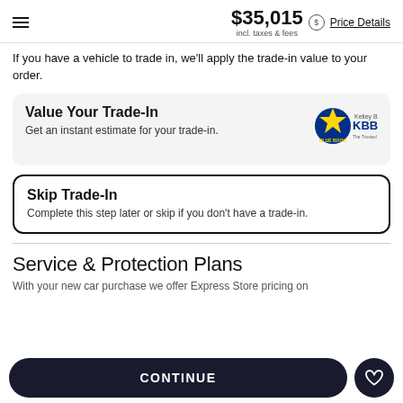$35,015 incl. taxes & fees | Price Details
If you have a vehicle to trade in, we'll apply the trade-in value to your order.
Value Your Trade-In
Get an instant estimate for your trade-in.
Skip Trade-In
Complete this step later or skip if you don't have a trade-in.
Service & Protection Plans
With your new car purchase we offer Express Store pricing on
CONTINUE